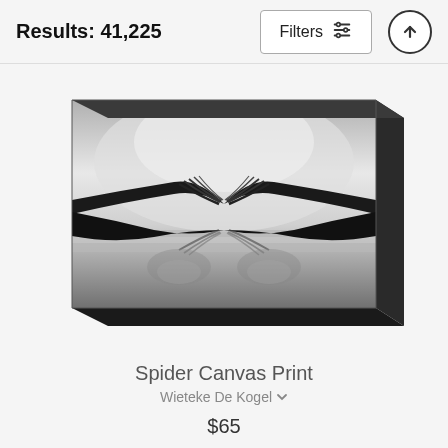Results: 41,225
[Figure (screenshot): A black and white canvas print showing two forks facing each other with their tines interlocked, reflected on a surface, displayed as a 3D canvas wrap product image.]
Spider Canvas Print
Wieteke De Kogel
$65